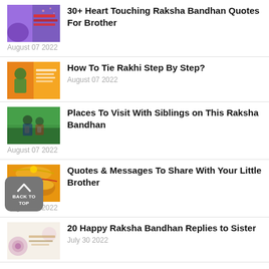[Figure (illustration): Thumbnail image with purple background and text 'Raksha Bandhan Quotes']
30+ Heart Touching Raksha Bandhan Quotes For Brother
August 07 2022
[Figure (photo): Orange/yellow thumbnail with text 'How To Tie Rakhi Step By Step']
How To Tie Rakhi Step By Step?
August 07 2022
[Figure (photo): Outdoor photo of siblings in forest]
Places To Visit With Siblings on This Raksha Bandhan
August 07 2022
[Figure (photo): Orange thumbnail with rakhi/sweets]
Quotes & Messages To Share With Your Little Brother
August 07 2022
[Figure (photo): Light/floral thumbnail with text 'Rakhi Wishes']
20 Happy Raksha Bandhan Replies to Sister
July 30 2022